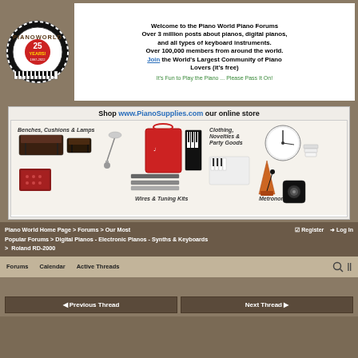[Figure (logo): Piano World 25 Years 1997-2022 circular logo with piano keys around border]
Welcome to the Piano World Piano Forums Over 3 million posts about pianos, digital pianos, and all types of keyboard instruments. Over 100,000 members from around the world. Join the World's Largest Community of Piano Lovers (it's free)
It's Fun to Play the Piano ... Please Pass It On!
[Figure (screenshot): Piano Supplies advertisement banner showing Shop www.PianoSupplies.com our online store with images of benches cushions lamps wires tuning kits clothing novelties party goods metronomes]
Piano World Home Page > Forums > Our Most Popular Forums > Digital Pianos - Electronic Pianos - Synths & Keyboards > Roland RD-2000
Register  Log In
Forums   Calendar   Active Threads
< Previous Thread
Next Thread >